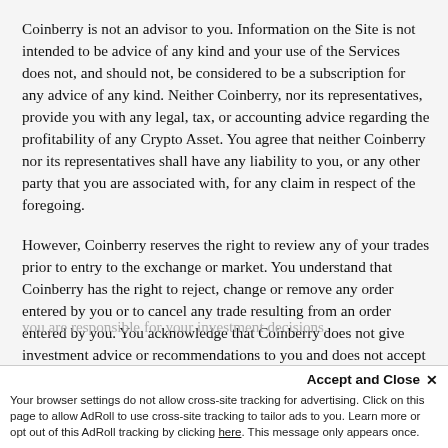Coinberry is not an advisor to you. Information on the Site is not intended to be advice of any kind and your use of the Services does not, and should not, be considered to be a subscription for any advice of any kind. Neither Coinberry, nor its representatives, provide you with any legal, tax, or accounting advice regarding the profitability of any Crypto Asset. You agree that neither Coinberry nor its representatives shall have any liability to you, or any other party that you are associated with, for any claim in respect of the foregoing.
However, Coinberry reserves the right to review any of your trades prior to entry to the exchange or market. You understand that Coinberry has the right to reject, change or remove any order entered by you or to cancel any trade resulting from an order entered by you. You acknowledge that Coinberry does not give investment advice or recommendations to you and does not accept any responsibility to advise you on the suitability of any of your investment decisions or transactions. You acknowledge that you are responsible for your investment decisions.
Accept and Close ×
Your browser settings do not allow cross-site tracking for advertising. Click on this page to allow AdRoll to use cross-site tracking to tailor ads to you. Learn more or opt out of this AdRoll tracking by clicking here. This message only appears once.